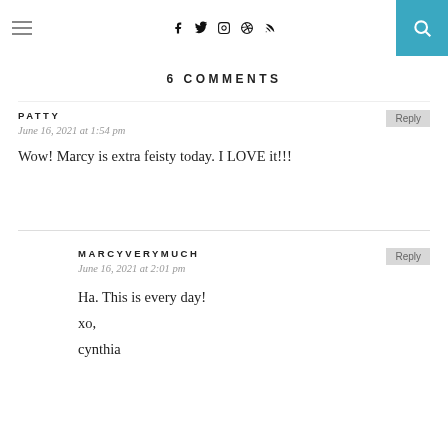Navigation bar with hamburger menu, social icons (f, Twitter, Instagram, Pinterest, RSS), and search button
6 COMMENTS
PATTY
June 16, 2021 at 1:54 pm
Wow! Marcy is extra feisty today. I LOVE it!!!
MARCYVERYMUCH
June 16, 2021 at 2:01 pm
Ha. This is every day!
xo,
cynthia